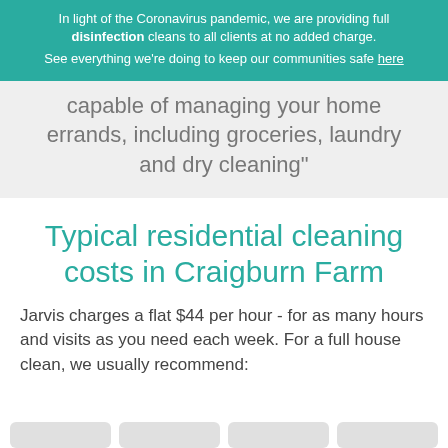In light of the Coronavirus pandemic, we are providing full disinfection cleans to all clients at no added charge. See everything we're doing to keep our communities safe here
capable of managing your home errands, including groceries, laundry and dry cleaning"
Typical residential cleaning costs in Craigburn Farm
Jarvis charges a flat $44 per hour - for as many hours and visits as you need each week. For a full house clean, we usually recommend: